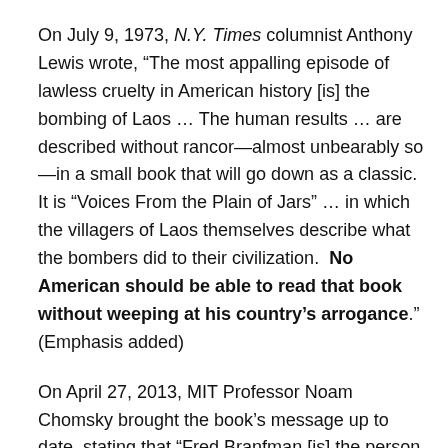On July 9, 1973, N.Y. Times columnist Anthony Lewis wrote, “The most appalling episode of lawless cruelty in American history [is] the bombing of Laos … The human results … are described without rancor—almost unbearably so—in a small book that will go down as a classic.  It is “Voices From the Plain of Jars” … in which the villagers of Laos themselves describe what the bombers did to their civilization.  No American should be able to read that book without weeping at his country’s arrogance.” (Emphasis added)
On April 27, 2013, MIT Professor Noam Chomsky brought the book’s message up to date, stating that “Fred Branfman [is] the person who worked for years, with enormous courage and effort, to try to expose what were called the secret wars.  The secret wars were perfectly